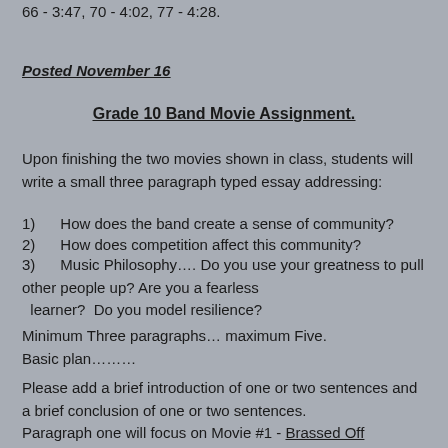66 - 3:47, 70 - 4:02, 77 - 4:28.
Posted November 16
Grade 10 Band Movie Assignment.
Upon finishing the two movies shown in class, students will write a small three paragraph typed essay addressing:
1)      How does the band create a sense of community?
2)      How does competition affect this community?
3)      Music Philosophy…. Do you use your greatness to pull other people up? Are you a fearless
  learner?  Do you model resilience?
Minimum Three paragraphs… maximum Five.
Basic plan………
Please add a brief introduction of one or two sentences and a brief conclusion of one or two sentences.
Paragraph one will focus on Movie #1 - Brassed Off
Paragraph #2 will focus on Movie #2 - Drumline